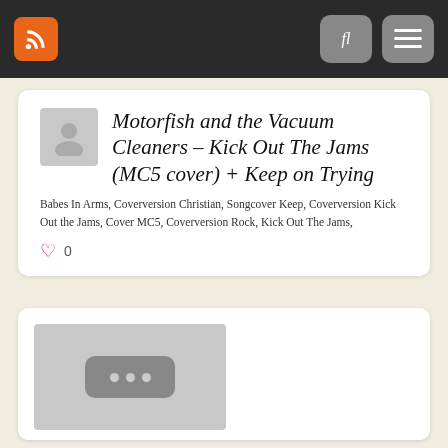RSS feed | Search | Menu
Motorfish and the Vacuum Cleaners – Kick Out The Jams (MC5 cover) + Keep on Trying
Babes In Arms, Coverversion Christian, Songcover Keep, Coverversion Kick Out the Jams, Cover MC5, Coverversion Rock, Kick Out The Jams,
0
[Figure (other): Media thumbnail placeholder with three dots icon]